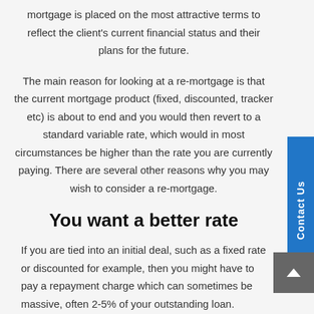mortgage is placed on the most attractive terms to reflect the client's current financial status and their plans for the future.
The main reason for looking at a re-mortgage is that the current mortgage product (fixed, discounted, tracker etc) is about to end and you would then revert to a standard variable rate, which would in most circumstances be higher than the rate you are currently paying. There are several other reasons why you may wish to consider a re-mortgage.
You want a better rate
If you are tied into an initial deal, such as a fixed rate or discounted for example, then you might have to pay a repayment charge which can sometimes be massive, often 2-5% of your outstanding loan. Additionally, there is usually a